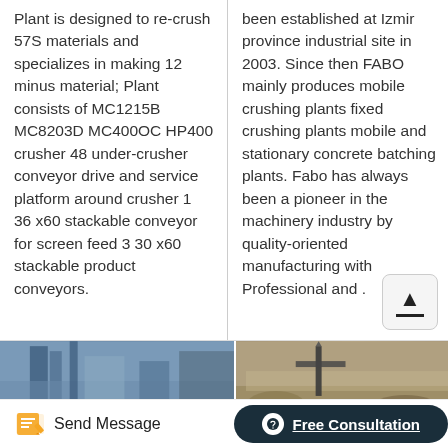Plant is designed to re-crush 57S materials and specializes in making 12 minus material; Plant consists of MC1215B MC8203D MC400OC HP400 crusher 48 under-crusher conveyor drive and service platform around crusher 1 36 x60 stackable conveyor for screen feed 3 30 x60 stackable product conveyors.
been established at Izmir province industrial site in 2003. Since then FABO mainly produces mobile crushing plants fixed crushing plants mobile and stationary concrete batching plants. Fabo has always been a pioneer in the machinery industry by quality-oriented manufacturing with Professional and .
[Figure (photo): Industrial machinery or building exterior, partial view showing blue metallic structure]
[Figure (photo): Outdoor industrial crushing plant site with machinery and rocky/gravel terrain]
Send Message
Free Consultation